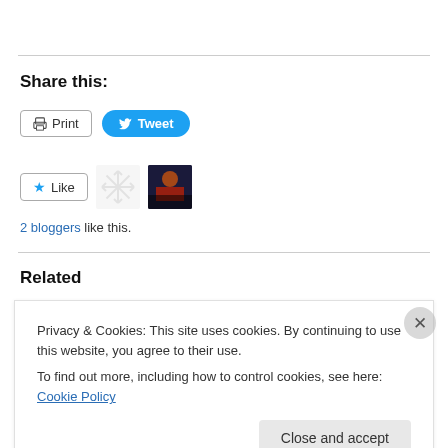Share this:
[Figure (screenshot): Print button with printer icon and Tweet button with Twitter bird icon on blue pill background]
[Figure (screenshot): Like button with star icon, snowflake avatar, and photo avatar]
2 bloggers like this.
Related
Privacy & Cookies: This site uses cookies. By continuing to use this website, you agree to their use. To find out more, including how to control cookies, see here: Cookie Policy
[Figure (screenshot): Close and accept button]